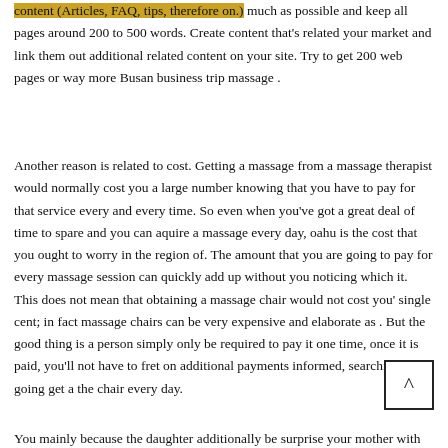content (Articles, FAQ, tips, therefore on.) much as possible and keep all pages around 200 to 500 words. Create content that's related your market and link them out additional related content on your site. Try to get 200 web pages or way more Busan business trip massage .
Another reason is related to cost. Getting a massage from a massage therapist would normally cost you a large number knowing that you have to pay for that service every and every time. So even when you've got a great deal of time to spare and you can aquire a massage every day, oahu is the cost that you ought to worry in the region of. The amount that you are going to pay for every massage session can quickly add up without you noticing which it. This does not mean that obtaining a massage chair would not cost you' single cent; in fact massage chairs can be very expensive and elaborate as . But the good thing is a person simply only be required to pay it one time, once it is paid, you'll not have to fret on additional payments informed, searching going get a the chair every day.
You mainly because the daughter additionally be surprise your mother with